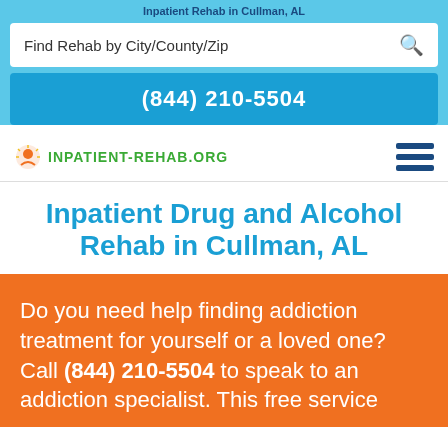Inpatient Rehab in Cullman, AL
Find Rehab by City/County/Zip
(844) 210-5504
[Figure (logo): Inpatient-Rehab.org logo with sun/head icon and green text]
Inpatient Drug and Alcohol Rehab in Cullman, AL
Do you need help finding addiction treatment for yourself or a loved one? Call (844) 210-5504 to speak to an addiction specialist. This free service